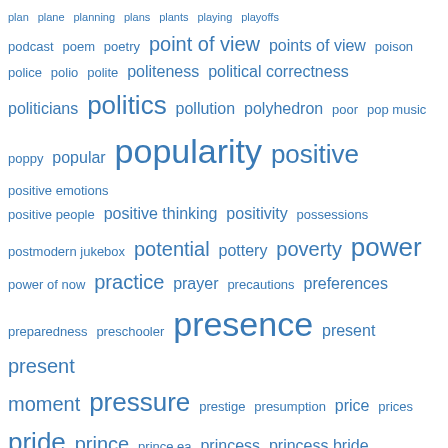[Figure (other): Tag cloud of words starting with 'p' and 'ps', displayed in varying font sizes in blue color, indicating word frequency or importance. Words include: plan, plane, planning, plans, plants, playing, playoffs, podcast, poem, poetry, point of view, points of view, poison, police, polio, polite, politeness, political correctness, politicians, politics, pollution, polyhedron, poor, pop music, poppy, popular, popularity, positive, positive emotions, positive people, positive thinking, positivity, possessions, postmodern jukebox, potential, pottery, poverty, power, power of now, practice, prayer, precautions, preferences, preparedness, preschooler, presence, present, present moment, pressure, prestige, presumption, price, prices, pride, prince, prince ea, princess, princess bride, principles, priorities, prison, privacy, problem, problem-solving, problems, procrastination, prodigy, produce, production, productivity, profession, professionalism, profound, program, programming, progress, progression, projection, promises, promotion, proportion, proposal, protest, proud, psyche, psychedelic, psychiatry, psychological, psychological drugs, psychological health, psychological pain, psychological stress, Psychology, Psychology Tomorrow, ptsd, public, public]